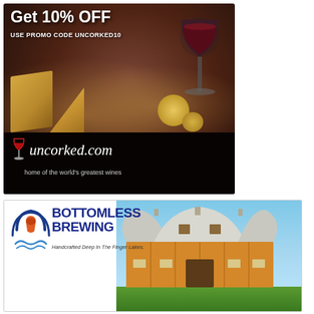[Figure (illustration): uncorked.com advertisement. Dark background with cheese and wine imagery. Text: 'Get 10% OFF', 'USE PROMO CODE UNCORKED10', 'uncorked.com', 'home of the world's greatest wines'.]
[Figure (photo): Bottomless Brewing advertisement showing a large barn building with the brewery logo and text: 'BOTTOMLESS BREWING', 'Handcrafted Deep In The Finger Lakes.']